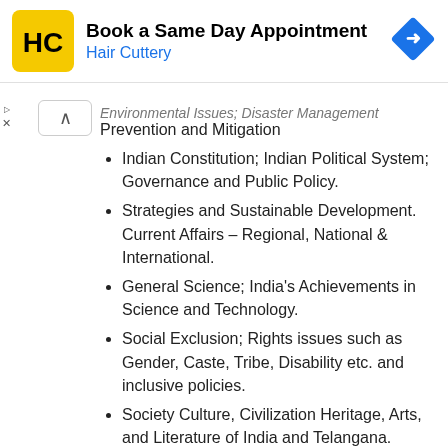[Figure (screenshot): Hair Cuttery advertisement banner with yellow logo, bold title 'Book a Same Day Appointment', subtitle 'Hair Cuttery' in blue, and a blue navigation arrow icon on the right.]
Environmental Issues; Disaster Management Prevention and Mitigation
Indian Constitution; Indian Political System; Governance and Public Policy.
Strategies and Sustainable Development. Current Affairs – Regional, National & International.
General Science; India's Achievements in Science and Technology.
Social Exclusion; Rights issues such as Gender, Caste, Tribe, Disability etc. and inclusive policies.
Society Culture, Civilization Heritage, Arts, and Literature of India and Telangana.
Socioeconomic, Political and Cultural History of